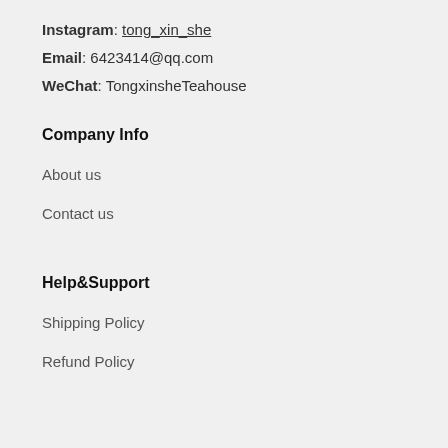Instagram: tong_xin_she
Email: 6423414@qq.com
WeChat: TongxinsheTeahouse
Company Info
About us
Contact us
Help&Support
Shipping Policy
Refund Policy